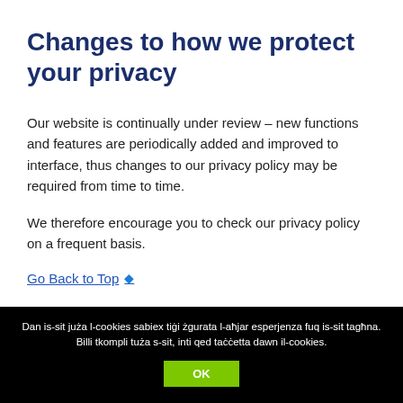Changes to how we protect your privacy
Our website is continually under review – new functions and features are periodically added and improved to interface, thus changes to our privacy policy may be required from time to time.
We therefore encourage you to check our privacy policy on a frequent basis.
Go Back to Top ◆
Dan is-sit juża l-cookies sabiex tiġi żgurata l-aħjar esperjenza fuq is-sit tagħna. Billi tkompli tuża s-sit, inti qed taċċetta dawn il-cookies. OK